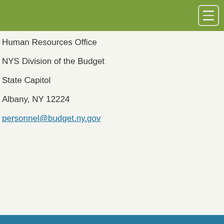Human Resources Office
NYS Division of the Budget
State Capitol
Albany, NY 12224
personnel@budget.ny.gov